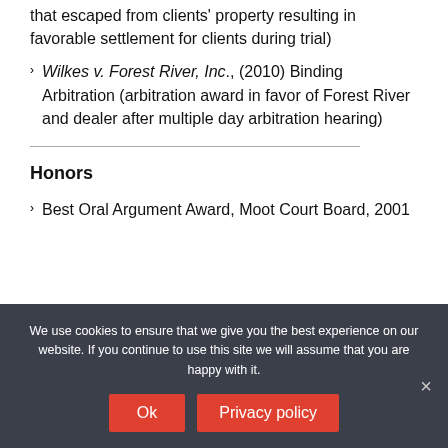that escaped from clients' property resulting in favorable settlement for clients during trial)
Wilkes v. Forest River, Inc., (2010) Binding Arbitration (arbitration award in favor of Forest River and dealer after multiple day arbitration hearing)
Honors
Best Oral Argument Award, Moot Court Board, 2001
We use cookies to ensure that we give you the best experience on our website. If you continue to use this site we will assume that you are happy with it.